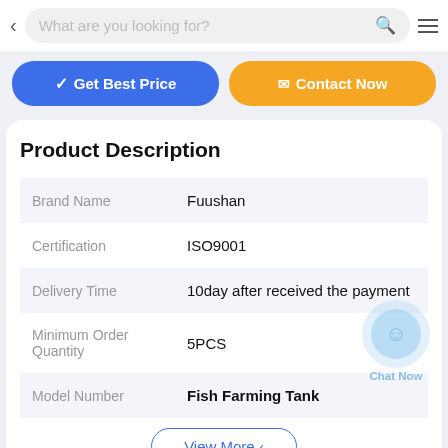What are you looking for?
[Figure (screenshot): Get Best Price and Contact Now buttons]
Product Description
| Attribute | Value |
| --- | --- |
| Brand Name | Fuushan |
| Certification | ISO9001 |
| Delivery Time | 10day after received the payment |
| Minimum Order Quantity | 5PCS |
| Model Number | Fish Farming Tank |
View More